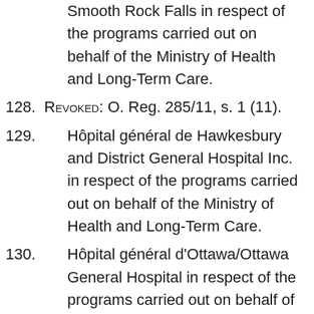Smooth Rock Falls in respect of the programs carried out on behalf of the Ministry of Health and Long-Term Care.
128. Revoked: O. Reg. 285/11, s. 1 (11).
129. Hôpital général de Hawkesbury and District General Hospital Inc. in respect of the programs carried out on behalf of the Ministry of Health and Long-Term Care.
130. Hôpital général d'Ottawa/Ottawa General Hospital in respect of the programs carried out on behalf of the Ministry of Health and Long-Term Care.
131. Hôpital Montfort in Ottawa in respect of the programs carried out on behalf of the Ministry of Health and Long-Term Care.